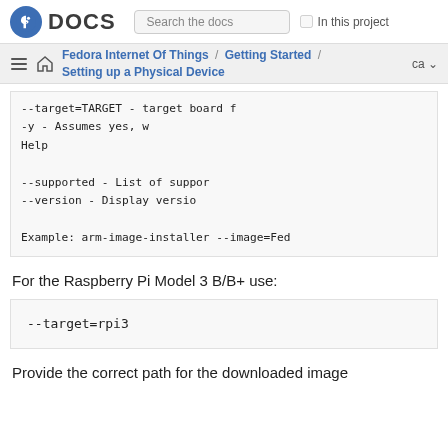Fedora DOCS | Search the docs | In this project
Fedora Internet Of Things / Getting Started / Setting up a Physical Device | ca
--target=TARGET - target board f
-y                 - Assumes yes, w
Help
--supported        - List of suppor
--version          - Display versio

Example: arm-image-installer --image=Fed
For the Raspberry Pi Model 3 B/B+ use:
--target=rpi3
Provide the correct path for the downloaded image